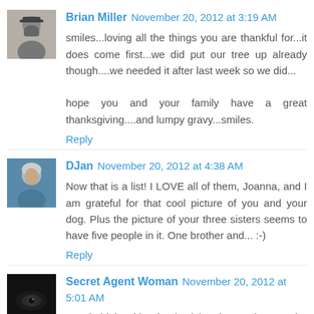[Figure (photo): Avatar photo of Brian Miller, a bearded man]
Brian Miller  November 20, 2012 at 3:19 AM
smiles...loving all the things you are thankful for...it does come first...we did put our tree up already though....we needed it after last week so we did...

hope you and your family have a great thanksgiving....and lumpy gravy...smiles.
Reply
[Figure (photo): Avatar photo of DJan, an older woman with short gray hair]
DJan  November 20, 2012 at 4:38 AM
Now that is a list! I LOVE all of them, Joanna, and I am grateful for that cool picture of you and your dog. Plus the picture of your three sisters seems to have five people in it. One brother and... :-)
Reply
[Figure (photo): Avatar photo of Secret Agent Woman, dark image showing an eye]
Secret Agent Woman  November 20, 2012 at 5:01 AM
You'd think with Thanksgiving happening on the earliest